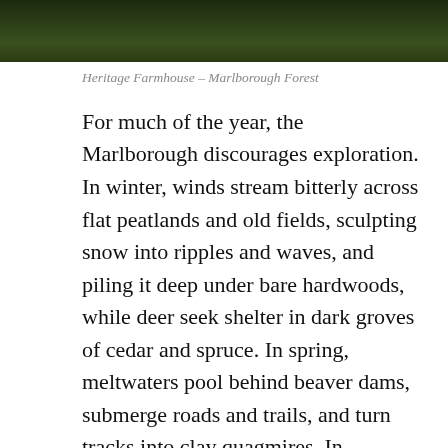[Figure (photo): Dark green forest/grass landscape photo strip at the top of the page — Heritage Farmhouse, Marlborough Forest]
Heritage Farmhouse – Marlborough Forest
For much of the year, the Marlborough discourages exploration. In winter, winds stream bitterly across flat peatlands and old fields, sculpting snow into ripples and waves, and piling it deep under bare hardwoods, while deer seek shelter in dark groves of cedar and spruce. In spring, meltwaters pool behind beaver dams, submerge roads and trails, and turn tracks into clay quagmires. In summer, plagues of mosquitoes and deer flies swarm in the hot, dry air to torment both human and beast. In autumn, the crack of hunters' rifles warns against casual hiking.